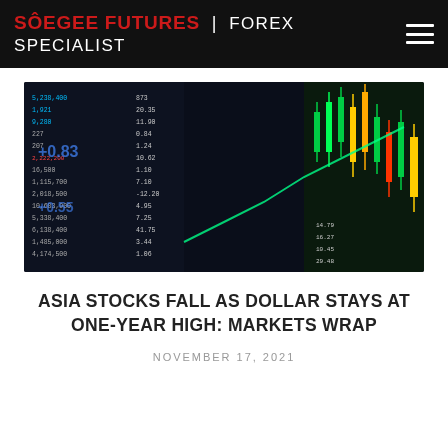SÔEGEE FUTURES | FOREX SPECIALIST
[Figure (photo): Stock market trading screen showing candlestick charts and numerical data tables with green and yellow candlesticks on dark background]
ASIA STOCKS FALL AS DOLLAR STAYS AT ONE-YEAR HIGH: MARKETS WRAP
NOVEMBER 17, 2021